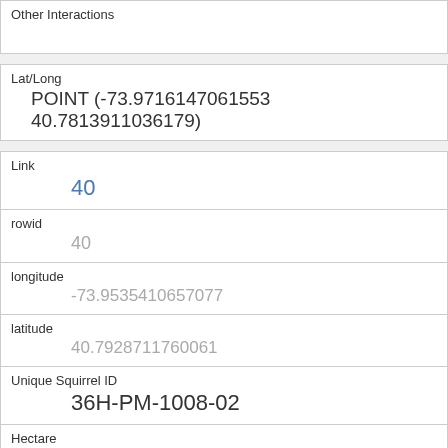Other Interactions
Lat/Long
POINT (-73.9716147061553 40.7813911036179)
Link
40
rowid
40
longitude
-73.9535410657077
latitude
40.7928711760061
Unique Squirrel ID
36H-PM-1008-02
Hectare
36H
Shift
PM
Date
10082018